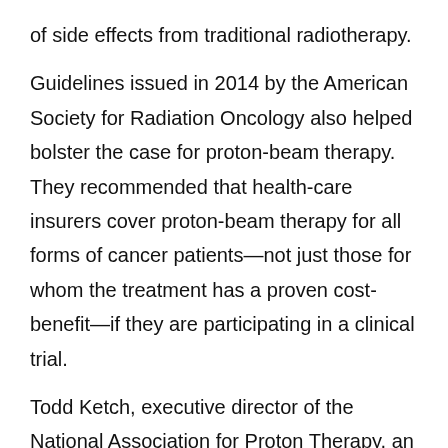of side effects from traditional radiotherapy.
Guidelines issued in 2014 by the American Society for Radiation Oncology also helped bolster the case for proton-beam therapy. They recommended that health-care insurers cover proton-beam therapy for all forms of cancer patients—not just those for whom the treatment has a proven cost-benefit—if they are participating in a clinical trial.
Todd Ketch, executive director of the National Association for Proton Therapy, an industry body, said that insurance coverage for proton-beam therapy in the U.S. was mixed. While some insurers “clearly value both the short- and long-term benefits of proton therapy for certain patients fighting